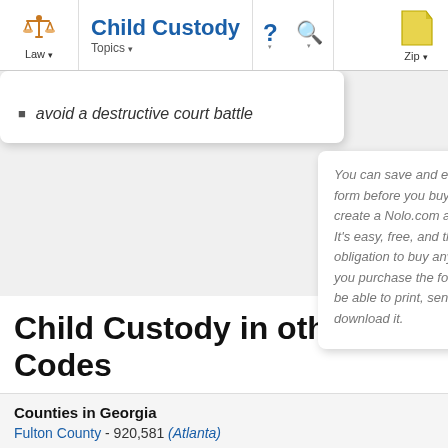Law | Child Custody | Topics | ? | Search | Zip
avoid a destructive court battle
You can save and edit the form before you buy--just create a Nolo.com account. It's easy, free, and there's no obligation to buy anything. If you purchase the form, you'll be able to print, send, or download it.
Child Custody in other Zip Codes
Counties in Georgia
Fulton County - 920,581 (Atlanta)